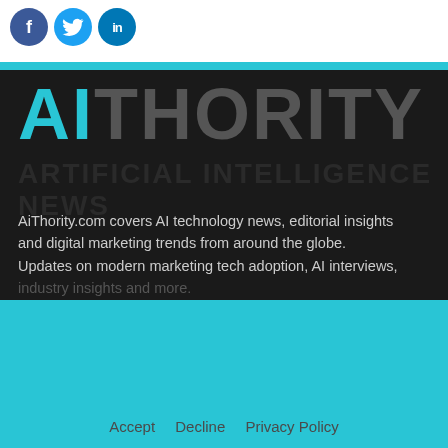[Figure (logo): Social media icons: Facebook (blue circle with f), Twitter (light blue circle with bird), LinkedIn (blue circle with in)]
[Figure (logo): AiThority logo — 'AI' in cyan, 'THORITY' in dark gray, large bold text on dark background, with a faded tagline below]
AiThority.com covers AI technology news, editorial insights and digital marketing trends from around the globe. Updates on modern marketing tech adoption, AI interviews,
We store cookies on your computer to improve your experience and provide more personalized services, both on this website and on other sites. For more information about the cookies we use, see our Privacy Policy. We won't track your information when you visit our site. We will have to use at least one cookie to ensure that you won't have to make this choice again.
Accept   Decline   Privacy Policy